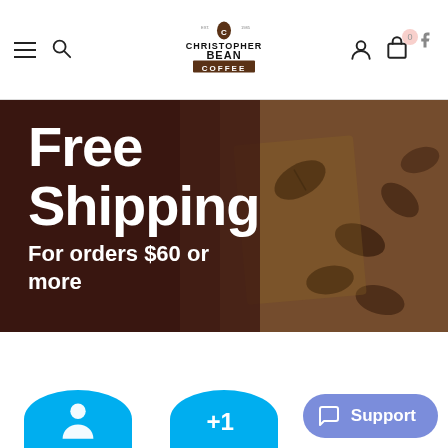[Figure (screenshot): Christopher Bean Coffee website header with hamburger menu, search icon, logo, user icon, and cart icon with badge showing 0]
[Figure (photo): Promotional banner showing coffee beans in a burlap sack with dark brown overlay and white bold text reading 'Free Shipping For orders $60 or more']
Shop . Earn . Save
[Figure (infographic): Two cyan/blue circular icons visible at bottom left (person/account icon and +1 icon), and a blue-purple Support chat button at bottom right]